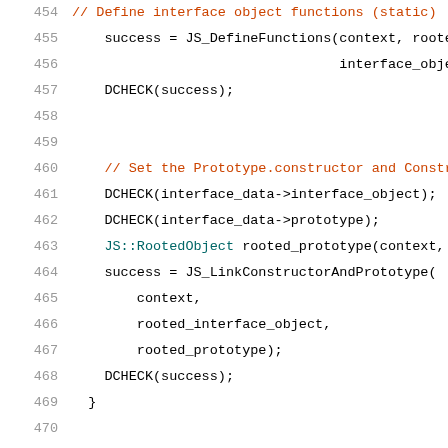Code listing lines 454-475 showing C++ source code for interface object setup and GetInterfaceData function